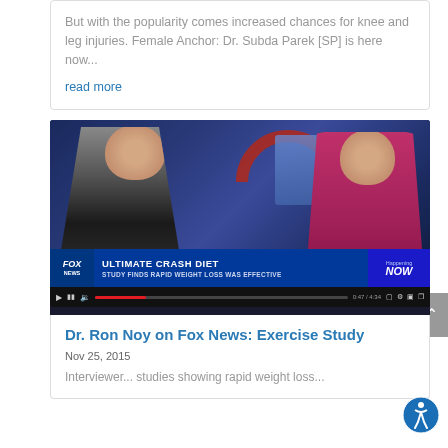But with the popularity comes increased chances for knee and leg injuries. Female Anchor: Dr. Subda Parek [SP] is here now...
read more
[Figure (screenshot): Fox News television screenshot showing two anchors (a man in dark suit and woman in pink dress) at a desk. Lower-third graphic reads: ULTIMATE CRASH DIET / STUDY FINDS RAPID WEIGHT LOSS WAS EFFECTIVE, with Happening NOW branding. Video player controls visible at bottom showing 0:47/4:34.]
Dr. Ron Noy on Fox News: Exercise Study
Nov 25, 2015
Interviewer... studies showing rapid weight loss...